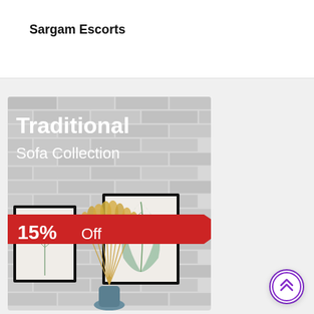Sargam Escorts
[Figure (infographic): Advertisement banner showing a white brick wall background with two framed botanical prints hanging on the wall and a dried pampas grass arrangement in a vase. Text overlay reads 'Traditional Sofa Collection' with '15% Off' on a red ribbon/banner element.]
[Figure (other): Circular scroll-to-top button with purple border and double chevron up arrow icon]